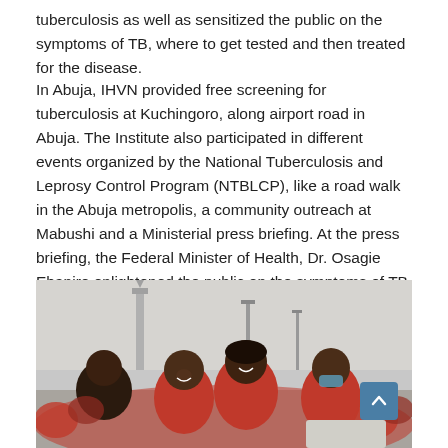tuberculosis as well as sensitized the public on the symptoms of TB, where to get tested and then treated for the disease.
In Abuja, IHVN provided free screening for tuberculosis at Kuchingoro, along airport road in Abuja. The Institute also participated in different events organized by the National Tuberculosis and Leprosy Control Program (NTBLCP), like a road walk in the Abuja metropolis, a community outreach at Mabushi and a Ministerial press briefing. At the press briefing, the Federal Minister of Health, Dr. Osagie Ehanire enlightened the public on the symptoms of TB and government activities to end TB.
[Figure (photo): A group of people wearing red shirts and red caps smiling during a road walk event. They are outdoors along a road with street lights and a tower visible in the background. A scroll-to-top button overlay is visible in the bottom right corner.]